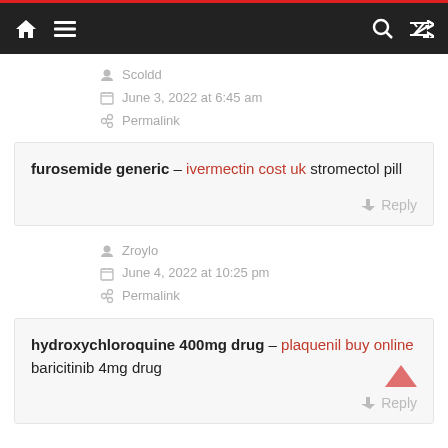Navigation bar with home, menu, search, shuffle icons
Scoldd
June 3, 2022 at 6:45 am
Permalink
furosemide generic – ivermectin cost uk stromectol pill
Reply
Zroylo
June 4, 2022 at 10:25 pm
Permalink
hydroxychloroquine 400mg drug – plaquenil buy online baricitinib 4mg drug
Reply